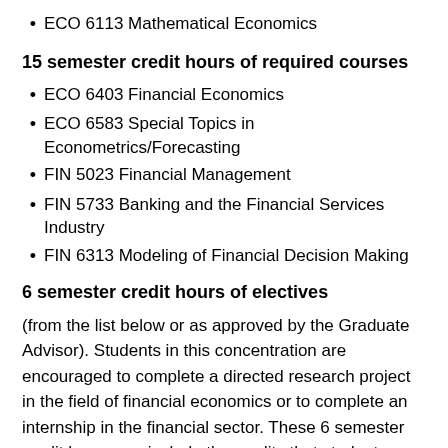ECO 6113 Mathematical Economics
15 semester credit hours of required courses
ECO 6403 Financial Economics
ECO 6583 Special Topics in Econometrics/Forecasting
FIN 5023 Financial Management
FIN 5733 Banking and the Financial Services Industry
FIN 6313 Modeling of Financial Decision Making
6 semester credit hours of electives
(from the list below or as approved by the Graduate Advisor). Students in this concentration are encouraged to complete a directed research project in the field of financial economics or to complete an internship in the financial sector. These 6 semester credit hours can include the credits that students would earn from an internship, and a directed research project (considered as an independent study).